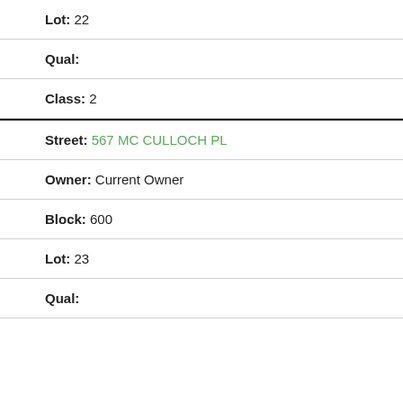Lot: 22
Qual:
Class: 2
Street: 567 MC CULLOCH PL
Owner: Current Owner
Block: 600
Lot: 23
Qual: